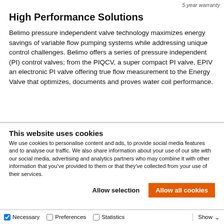5 year warranty
High Performance Solutions
Belimo pressure independent valve technology maximizes energy savings of variable flow pumping systems while addressing unique control challenges. Belimo offers a series of pressure independent (PI) control valves; from the PIQCV, a super compact PI valve, EPIV an electronic PI valve offering true flow measurement to the Energy Valve that optimizes, documents and proves water coil performance.
This website uses cookies
We use cookies to personalise content and ads, to provide social media features and to analyse our traffic. We also share information about your use of our site with our social media, advertising and analytics partners who may combine it with other information that you've provided to them or that they've collected from your use of their services.
Allow selection  Allow all cookies
Necessary  Preferences  Statistics  Show